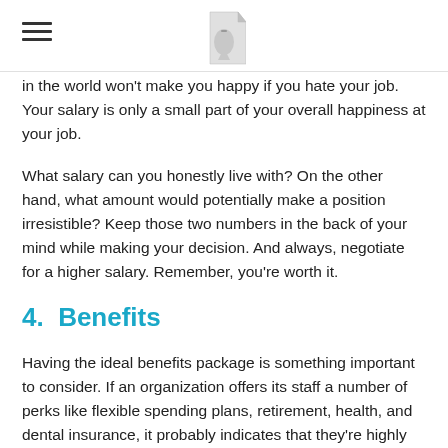in the world won't make you happy if you hate your job. Your salary is only a small part of your overall happiness at your job.
What salary can you honestly live with? On the other hand, what amount would potentially make a position irresistible? Keep those two numbers in the back of your mind while making your decision. And always, negotiate for a higher salary. Remember, you're worth it.
4. Benefits
Having the ideal benefits package is something important to consider. If an organization offers its staff a number of perks like flexible spending plans, retirement, health, and dental insurance, it probably indicates that they're highly competitive and doing financially well.